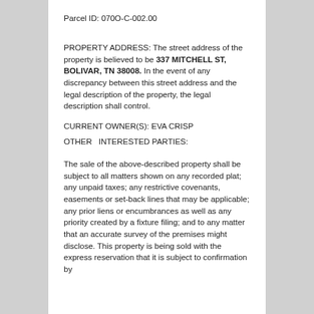Parcel ID: 070O-C-002.00
PROPERTY ADDRESS: The street address of the property is believed to be 337 MITCHELL ST, BOLIVAR, TN 38008. In the event of any discrepancy between this street address and the legal description of the property, the legal description shall control.
CURRENT OWNER(S): EVA CRISP
OTHER  INTERESTED PARTIES:
The sale of the above-described property shall be subject to all matters shown on any recorded plat; any unpaid taxes; any restrictive covenants, easements or set-back lines that may be applicable; any prior liens or encumbrances as well as any priority created by a fixture filing; and to any matter that an accurate survey of the premises might disclose. This property is being sold with the express reservation that it is subject to confirmation by